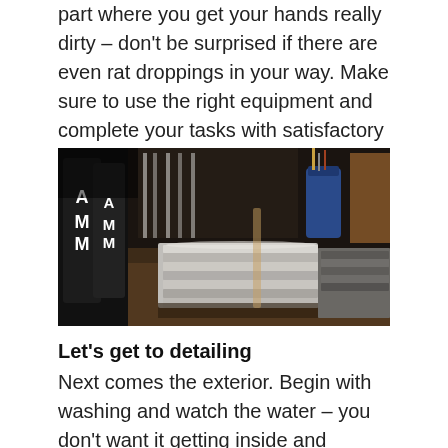part where you get your hands really dirty – don't be surprised if there are even rat droppings in your way. Make sure to use the right equipment and complete your tasks with satisfactory results.
[Figure (photo): Workshop/garage scene showing stacks of folded grey cloths/rags on a wooden surface, with dark cylindrical cans labeled 'AMM' on the left side, and a blue container and other items in the background.]
Let's get to detailing
Next comes the exterior. Begin with washing and watch the water – you don't want it getting inside and ruining all of your previous work. Mind the pressure too as paintwork's a delicate thing. With everything done correctly, you'll be rewarded with the car's true colors – a glimpse into the days of its glory. Other tasks will for